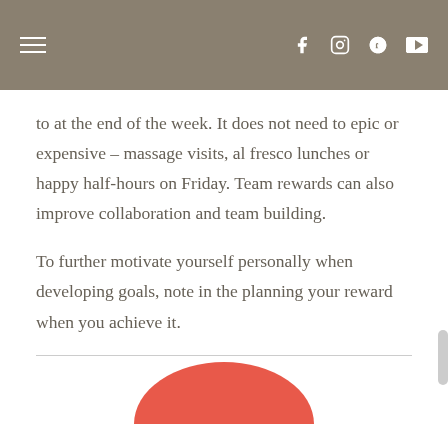to at the end of the week. It does not need to epic or expensive – massage visits, al fresco lunches or happy half-hours on Friday. Team rewards can also improve collaboration and team building.
To further motivate yourself personally when developing goals, note in the planning your reward when you achieve it.
[Figure (illustration): Partial view of a salmon/coral colored circle emerging from the bottom of the page, suggesting a decorative graphic element.]